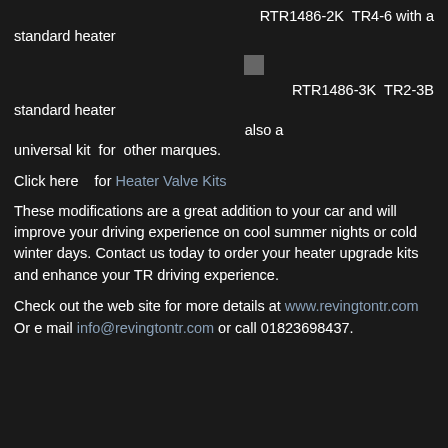RTR1486-2K  TR4-6 with a standard heater
[Figure (other): Small dark grey square icon]
RTR1486-3K  TR2-3B standard heater also a universal kit  for  other marques.
Click here   for Heater Valve Kits
These modifications are a great addition to your car and will improve your driving experience on cool summer nights or cold winter days. Contact us today to order your heater upgrade kits and enhance your TR driving experience.
Check out the web site for more details at www.revingtontr.com Or e mail info@revingtontr.com or call 01823698437.